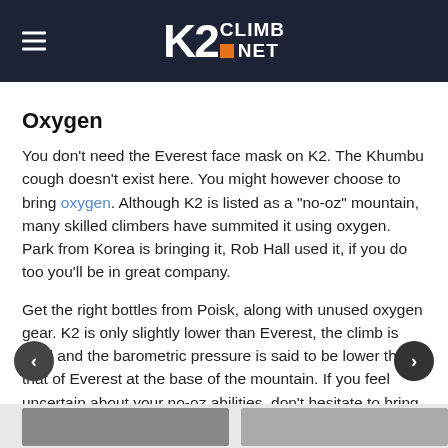K2 CLIMB NET
Oxygen
You don't need the Everest face mask on K2. The Khumbu cough doesn't exist here. You might however choose to bring oxygen. Although K2 is listed as a "no-oz" mountain, many skilled climbers have summited it using oxygen. Park from Korea is bringing it, Rob Hall used it, if you do too you'll be in great company.
Get the right bottles from Poisk, along with unused oxygen gear. K2 is only slightly lower than Everest, the climb is hard and the barometric pressure is said to be lower then that of Everest at the base of the mountain. If you feel uncertain about your no-oz abilities, don't hesitate to bring it and use it.